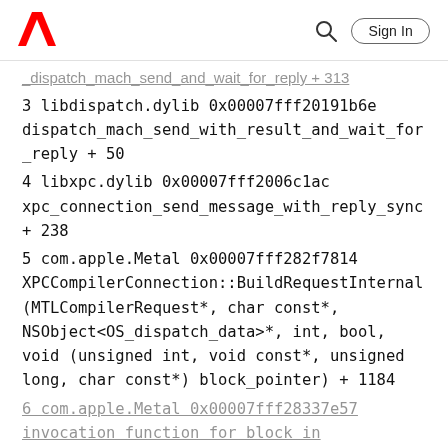Adobe logo, search icon, Sign In button
_dispatch_mach_send_and_wait_for_reply + 313
3 libdispatch.dylib 0x00007fff20191b6e dispatch_mach_send_with_result_and_wait_for_reply + 50
4 libxpc.dylib 0x00007fff2006c1ac xpc_connection_send_message_with_reply_sync + 238
5 com.apple.Metal 0x00007fff282f7814 XPCCompilerConnection::BuildRequestInternal(MTLCompilerRequest*, char const*, NSObject<OS_dispatch_data>*, int, bool, void (unsigned int, void const*, unsigned long, char const*) block_pointer) + 1184
6 com.apple.Metal 0x00007fff28337e57 invocation function for block in